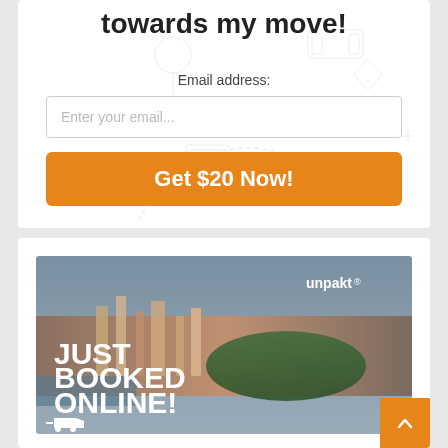towards my move!
Email address:
Enter your email...
Get $20 Now!
[Figure (photo): Aerial photo of New York City with 'JUST BOOKED ONLINE!' text overlay and unpakt logo]
From Brooklyn to Manhattan
Studio
27 Furniture items